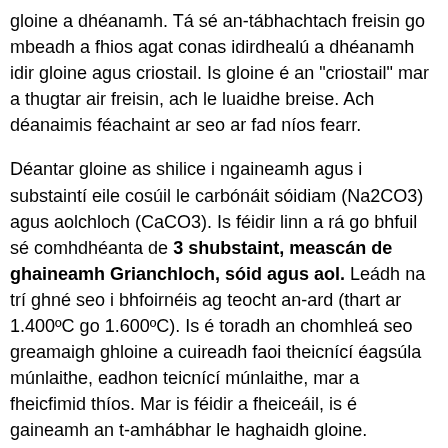gloine a dhéanamh. Tá sé an-tábhachtach freisin go mbeadh a fhios agat conas idirdhealú a dhéanamh idir gloine agus criostail. Is gloine é an "criostail" mar a thugtar air freisin, ach le luaidhe breise. Ach déanaimis féachaint ar seo ar fad níos fearr.
Déantar gloine as shilice i ngaineamh agus i substaintí eile cosúil le carbónáit sóidiam (Na2CO3) agus aolchloch (CaCO3). Is féidir linn a rá go bhfuil sé comhdhéanta de 3 shubstaint, meascán de ghaineamh Grianchloch, sóid agus aol. Leádh na trí ghné seo i bhfoirnéis ag teocht an-ard (thart ar 1.400ºC go 1.600ºC). Is é toradh an chomhleá seo greamaigh ghloine a cuireadh faoi theicnící éagsúla múnlaithe, eadhon teicnící múnlaithe, mar a fheicfimid thíos. Mar is féidir a fheiceáil, is é gaineamh an t-amhábhar le haghaidh gloine.